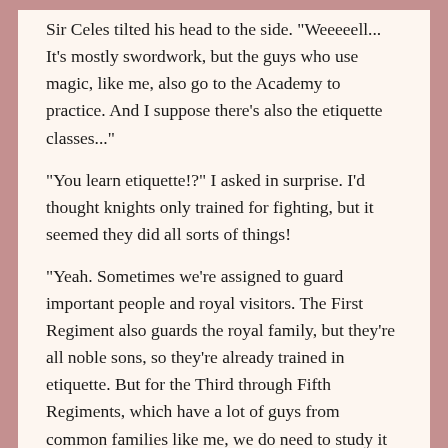Sir Celes tilted his head to the side. "Weeeeell... It's mostly swordwork, but the guys who use magic, like me, also go to the Academy to practice. And I suppose there's also the etiquette classes..." "You learn etiquette!?" I asked in surprise. I'd thought knights only trained for fighting, but it seemed they did all sorts of things! "Yeah. Sometimes we're assigned to guard important people and royal visitors. The First Regiment also guards the royal family, but they're all noble sons, so they're already trained in etiquette. But for the Third through Fifth Regiments, which have a lot of guys from common families like me, we do need to study it regularly." He laughed ruefully. "It's a pain, but that's the way it is."

He had a point. If you didn't come from a noble fa...